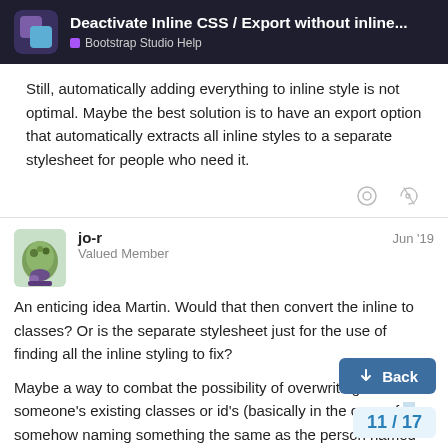Deactivate Inline CSS / Export without inline... Bootstrap Studio Help
Still, automatically adding everything to inline style is not optimal. Maybe the best solution is to have an export option that automatically extracts all inline styles to a separate stylesheet for people who need it.
jo-r Jun '19 Valued Member
An enticing idea Martin. Would that then convert the inline to classes? Or is the separate stylesheet just for the use of finding all the inline styling to fix?
Maybe a way to combat the possibility of overwriting someone's existing classes or id's (basically in the case of   somehow naming something the same as the person named something) would be to append all classes  it were converting the inline to actual class